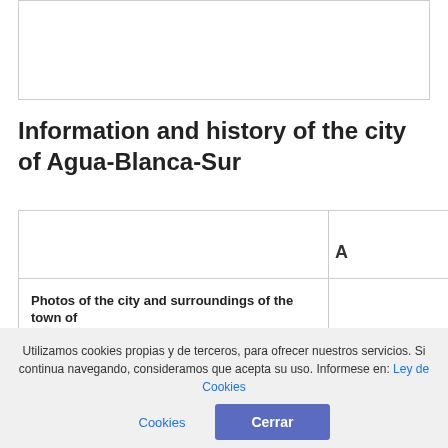[Figure (photo): Top image placeholder box (empty white rectangle with border)]
Information and history of the city of Agua-Blanca-Sur
|  |  |
| --- | --- |
| Photos of the city and surroundings of the town of | A |
| Pictures of landscapes and monuments in estado of | Yo |
| Getting there, hotle, lodging and dining in: | Do |
| Map & satellite map of how to get | m |
| Forum Agua-Blanca-Sur customs, postal zip code, |  |
Utilizamos cookies propias y de terceros, para ofrecer nuestros servicios. Si continua navegando, consideramos que acepta su uso. Informese en: Ley de Cookies
Cerrar